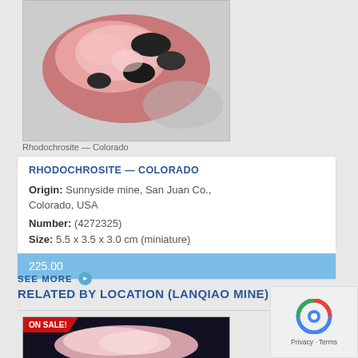[Figure (photo): Photo of a rhodochrosite mineral specimen from Colorado, showing pink and black coloring on a grey background]
Rhodochrosite — Colorado
| RHODOCHROSITE — COLORADO |
| Origin: Sunnyside mine, San Juan Co., Colorado, USA |
| Number: (4272325) |
| Size: 5.5 x 3.5 x 3.0 cm (miniature) |
| 225.00 |
SEE MORE ▶ RELATED BY LOCATION (LANQIAO MINE):
[Figure (photo): Photo of a pink mineral specimen on dark background with ON SALE! banner]